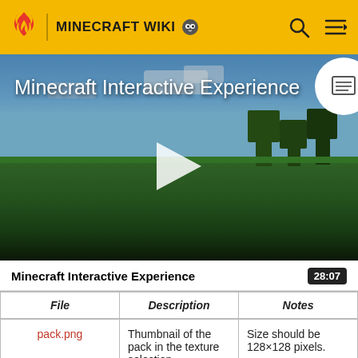MINECRAFT WIKI
[Figure (screenshot): Video thumbnail showing Minecraft landscape with blue sky and green terrain, play button overlay, title 'Minecraft Interactive Experience']
Minecraft Interactive Experience
28:07
| File | Description | Notes |
| --- | --- | --- |
| pack.png | Thumbnail of the pack in the texture selection | Size should be 128×128 pixels. |